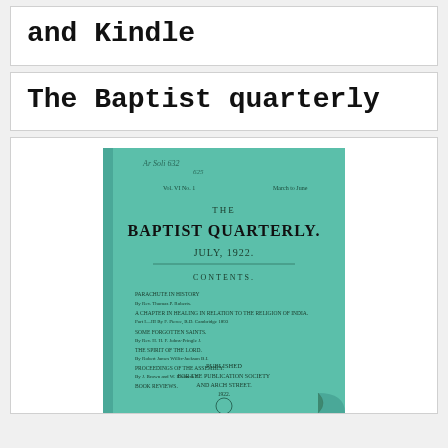and Kindle
The Baptist quarterly
[Figure (photo): Photo of the cover of 'The Baptist Quarterly', a green-covered journal/book with text reading 'THE BAPTIST QUARTERLY. JULY, 1922.' and a table of contents listing several article titles. Published by The Baptist Publication Society, with the cover slightly curled at the bottom right corner.]